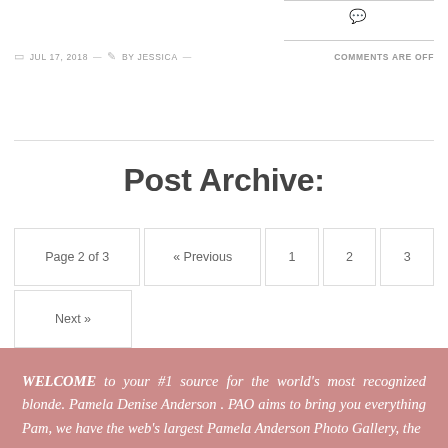JUL 17, 2018 — BY JESSICA — COMMENTS ARE OFF
Post Archive:
Page 2 of 3  « Previous  1  2  3  Next »
WELCOME to your #1 source for the world's most recognized blonde. Pamela Denise Anderson . PAO aims to bring you everything Pam, we have the web's largest Pamela Anderson Photo Gallery, the